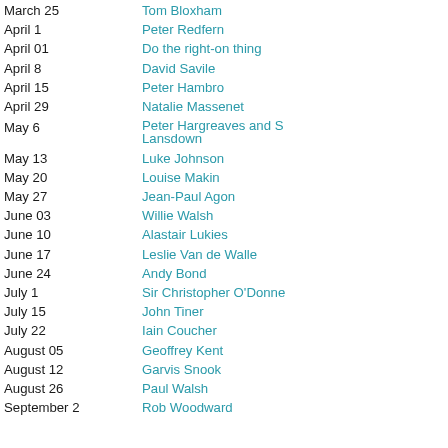| Date | Name |
| --- | --- |
| March 25 | Tom Bloxham |
| April 1 | Peter Redfern |
| April 01 | Do the right-on thing |
| April 8 | David Savile |
| April 15 | Peter Hambro |
| April 29 | Natalie Massenet |
| May 6 | Peter Hargreaves and S Lansdown |
| May 13 | Luke Johnson |
| May 20 | Louise Makin |
| May 27 | Jean-Paul Agon |
| June 03 | Willie Walsh |
| June 10 | Alastair Lukies |
| June 17 | Leslie Van de Walle |
| June 24 | Andy Bond |
| July 1 | Sir Christopher O'Donne |
| July 15 | John Tiner |
| July 22 | Iain Coucher |
| August 05 | Geoffrey Kent |
| August 12 | Garvis Snook |
| August 26 | Paul Walsh |
| September 2 | Rob Woodward |